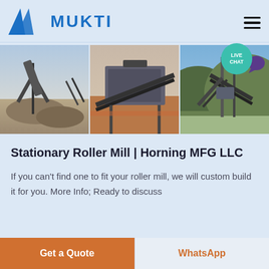[Figure (logo): Mukti logo with blue triangle/mountain icon and blue bold text MUKTI]
[Figure (photo): Three side-by-side photos of industrial mining/crushing plant equipment outdoors]
Stationary Roller Mill | Horning MFG LLC
If you can't find one to fit your roller mill, we will custom build it for you. More Info; Ready to discuss